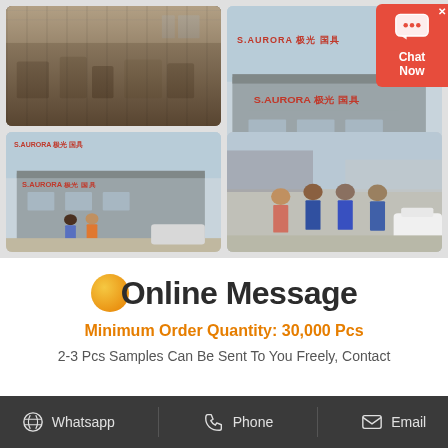[Figure (photo): Grid of four factory and building photos: top-left shows factory interior with equipment, top-right shows exterior of S.AURORA building, bottom-left shows exterior with two people posing, bottom-right shows group of four people standing outside building near cars.]
[Figure (infographic): Red chat now button overlay with speech bubble icon in top right corner]
Online Message
Minimum Order Quantity: 30,000 Pcs
2-3 Pcs Samples Can Be Sent To You Freely, Contact Us For More Information.
Whatsapp   Phone   Email